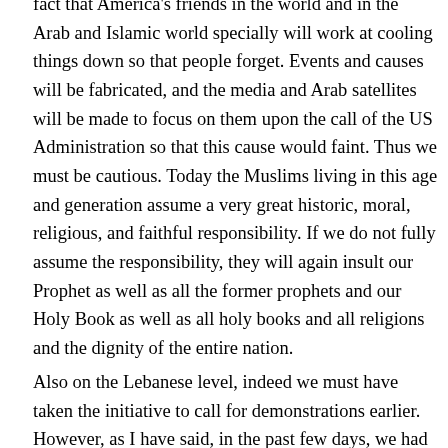fact that America's friends in the world and in the Arab and Islamic world specially will work at cooling things down so that people forget. Events and causes will be fabricated, and the media and Arab satellites will be made to focus on them upon the call of the US Administration so that this cause would faint. Thus we must be cautious. Today the Muslims living in this age and generation assume a very great historic, moral, religious, and faithful responsibility. If we do not fully assume the responsibility, they will again insult our Prophet as well as all the former prophets and our Holy Book as well as all holy books and all religions and the dignity of the entire nation.
Also on the Lebanese level, indeed we must have taken the initiative to call for demonstrations earlier. However, as I have said, in the past few days, we had a special situation and we feared any popular movement may be exploited in any of the Lebanese regions for wrong ends which